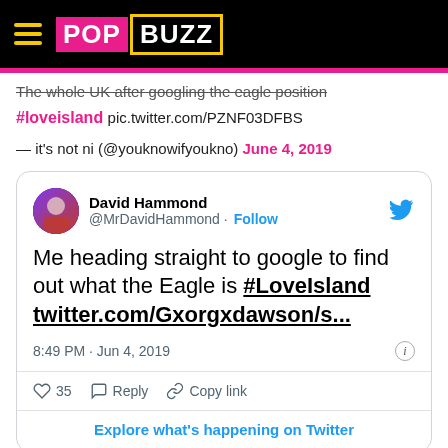PopBuzz
The whole UK after googling the eagle position
#loveisland pic.twitter.com/PZNF03DFBS
— it's not ni (@youknowifyoukno) June 4, 2019
[Figure (screenshot): Embedded tweet from David Hammond (@MrDavidHammond): 'Me heading straight to google to find out what the Eagle is #LoveIsland twitter.com/Gxorgxdawson/s...' posted at 8:49 PM · Jun 4, 2019, with 35 likes.]